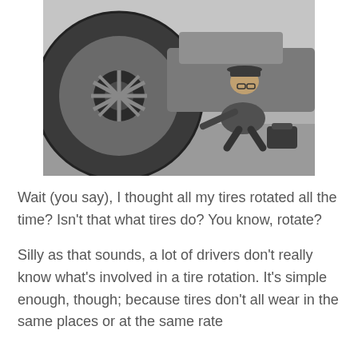[Figure (photo): Black and white vintage photograph of a man in a hat and suit crouching beside an old car with a spoked wheel, examining the tire. A bag sits on the ground beside him.]
Wait (you say), I thought all my tires rotated all the time? Isn't that what tires do? You know, rotate?
Silly as that sounds, a lot of drivers don't really know what's involved in a tire rotation. It's simple enough, though; because tires don't all wear in the same places or at the same rate...